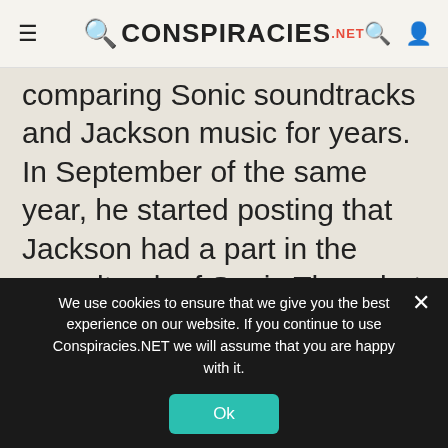CONSPIRACIES.NET
comparing Sonic soundtracks and Jackson music for years. In September of the same year, he started posting that Jackson had a part in the soundtrack of Sonic Three but was for some reason not given any credit. This started a chain reaction of Sonic and Jackson die hard fans who would spread the theory far and wide as well as send thousands of emails to various artists, producers and sound engineers of Sega's Sonic
We use cookies to ensure that we give you the best experience on our website. If you continue to use Conspiracies.NET we will assume that you are happy with it.